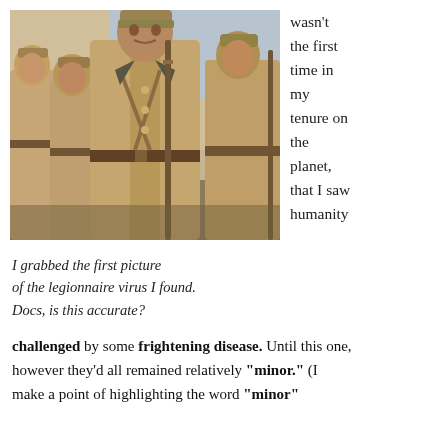[Figure (photo): Color photograph of soldiers in tan/khaki WWI-era military uniforms with rifles, standing in a group. Central figure is prominent in the foreground.]
wasn't the first time in my tenure on the planet, that I saw humanity
I grabbed the first picture of the legionnaire virus I found. Docs, is this accurate?
challenged by some frightening disease. Until this one, however they'd all remained relatively "minor." (I make a point of highlighting the word "minor"